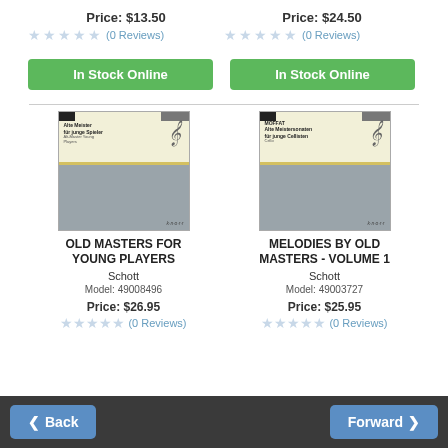Price: $13.50
(0 Reviews)
Price: $24.50
(0 Reviews)
In Stock Online
In Stock Online
[Figure (photo): Book cover: Old Masters for Young Players, Schott/Kullak edition]
OLD MASTERS FOR YOUNG PLAYERS
Schott
Model: 49008496
Price: $26.95
(0 Reviews)
[Figure (photo): Book cover: Melodies by Old Masters - Volume 1, Moffat, Schott edition]
MELODIES BY OLD MASTERS - VOLUME 1
Schott
Model: 49003727
Price: $25.95
(0 Reviews)
Back  Forward